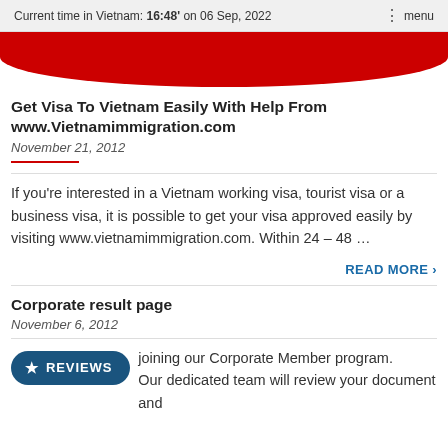Current time in Vietnam: 16:48' on 06 Sep, 2022  ⋮ menu
[Figure (other): Partial red rounded banner/button visible at top of page]
Get Visa To Vietnam Easily With Help From www.Vietnamimmigration.com
November 21, 2012
If you're interested in a Vietnam working visa, tourist visa or a business visa, it is possible to get your visa approved easily by visiting www.vietnamimmigration.com. Within 24 – 48 …
READ MORE ›
Corporate result page
November 6, 2012
[Figure (other): Dark blue rounded pill button with star icon and text REVIEWS]
joining our Corporate Member program. Our dedicated team will review your document and